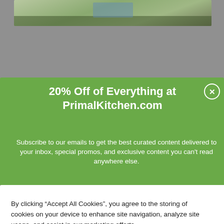[Figure (screenshot): Top portion of a website page showing a partial photograph of a person outdoors, gray background visible]
[Figure (screenshot): Green promotional popup modal overlay on website: '20% Off of Everything at PrimalKitchen.com' with subscription text and a circular X close button]
20% Off of Everything at PrimalKitchen.com
Subscribe to our emails to get the best curated content delivered to your inbox, special promos, and exclusive content you can't read anywhere else.
By clicking “Accept All Cookies”, you agree to the storing of cookies on your device to enhance site navigation, analyze site usage, and assist in our marketing efforts.
Accept All Cookies
Cookies Settings